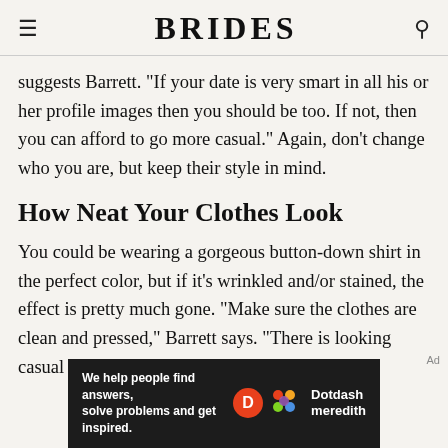BRIDES
suggests Barrett. "If your date is very smart in all his or her profile images then you should be too. If not, then you can afford to go more casual." Again, don't change who you are, but keep their style in mind.
How Neat Your Clothes Look
You could be wearing a gorgeous button-down shirt in the perfect color, but if it's wrinkled and/or stained, the effect is pretty much gone. "Make sure the clothes are clean and pressed," Barrett says. "There is looking casual and then there is looking unkempt."
[Figure (infographic): Dotdash Meredith advertisement banner with text 'We help people find answers, solve problems and get inspired.']